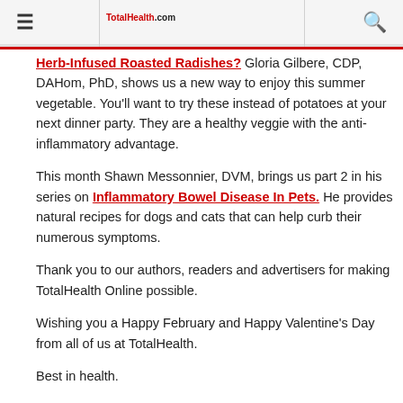≡  [TotalHealth Logo]  🔍
Herb-Infused Roasted Radishes? Gloria Gilbere, CDP, DAHom, PhD, shows us a new way to enjoy this summer vegetable. You'll want to try these instead of potatoes at your next dinner party. They are a healthy veggie with the anti-inflammatory advantage.
This month Shawn Messonnier, DVM, brings us part 2 in his series on Inflammatory Bowel Disease In Pets. He provides natural recipes for dogs and cats that can help curb their numerous symptoms.
Thank you to our authors, readers and advertisers for making TotalHealth Online possible.
Wishing you a Happy February and Happy Valentine's Day from all of us at TotalHealth.
Best in health.
TWIP - The Wellness Imperative People